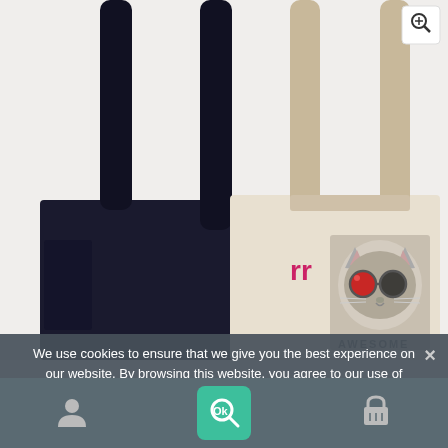[Figure (photo): Two tote bags side by side on white background. Left bag is black/dark navy with a side pocket. Right bag is natural/beige canvas with a printed photo of a cat wearing sunglasses and the word AWESOME. A small pink/magenta logo appears on the beige bag. A zoom-in magnifier button is visible in the top right corner.]
We use cookies to ensure that we give you the best experience on our website. By browsing this website, you agree to our use of these cookies.
[Figure (screenshot): Bottom navigation bar with user/account icon on left, a teal OK button with magnifying glass icon in center, and shopping basket icon on right. Cookie consent overlay with close X button.]